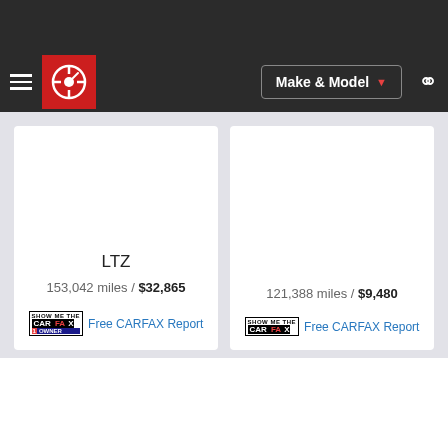[Figure (screenshot): Autoblog website navigation bar with hamburger menu, red Autoblog logo, Make & Model dropdown button, and search icon on dark background]
LTZ
153,042 miles / $32,865
121,388 miles / $9,480
Free CARFAX Report
Free CARFAX Report
1
2
3
4
5
6
...
31
Chevrolet on Autoblog
New Chevrolet  Used Chevrolet  Certified Used Chevrolet
Chevrolet on Autoblog
Chevrolet Models, News and Information, Chevrolet C...